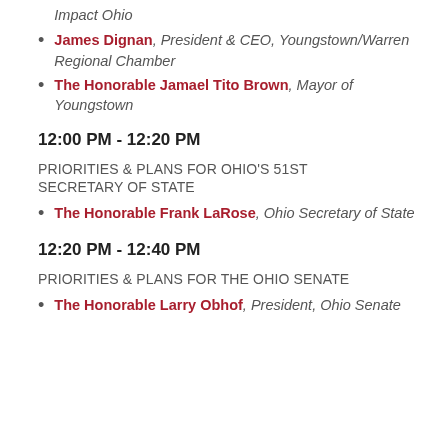Impact Ohio
James Dignan, President & CEO, Youngstown/Warren Regional Chamber
The Honorable Jamael Tito Brown, Mayor of Youngstown
12:00 PM - 12:20 PM
PRIORITIES & PLANS FOR OHIO'S 51ST SECRETARY OF STATE
The Honorable Frank LaRose, Ohio Secretary of State
12:20 PM - 12:40 PM
PRIORITIES & PLANS FOR THE OHIO SENATE
The Honorable Larry Obhof, President, Ohio Senate